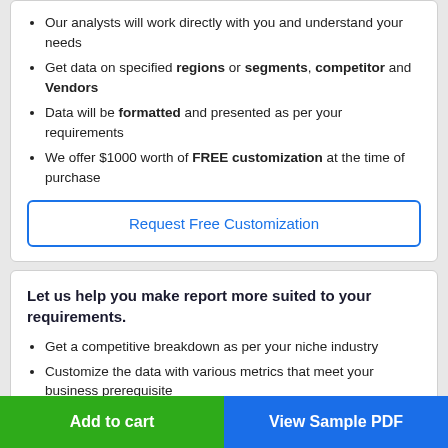Our analysts will work directly with you and understand your needs
Get data on specified regions or segments, competitor and Vendors
Data will be formatted and presented as per your requirements
We offer $1000 worth of FREE customization at the time of purchase
Request Free Customization
Let us help you make report more suited to your requirements.
Get a competitive breakdown as per your niche industry
Customize the data with various metrics that meet your business prerequisite
Add to cart
View Sample PDF